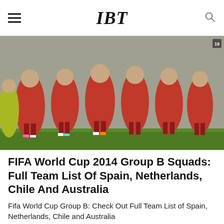IBT
[Figure (photo): A group of football players in red uniforms posing together on a grass field, likely the Spanish national team]
FIFA World Cup 2014 Group B Squads: Full Team List Of Spain, Netherlands, Chile And Australia
Fifa World Cup Group B: Check Out Full Team List of Spain, Netherlands, Chile and Australia
Jun 11, 2014